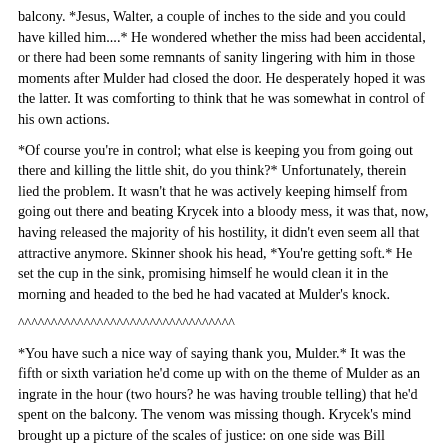balcony. *Jesus, Walter, a couple of inches to the side and you could have killed him....* He wondered whether the miss had been accidental, or there had been some remnants of sanity lingering with him in those moments after Mulder had closed the door. He desperately hoped it was the latter. It was comforting to think that he was somewhat in control of his own actions.
*Of course you're in control; what else is keeping you from going out there and killing the little shit, do you think?* Unfortunately, therein lied the problem. It wasn't that he was actively keeping himself from going out there and beating Krycek into a bloody mess, it was that, now, having released the majority of his hostility, it didn't even seem all that attractive anymore. Skinner shook his head, *You're getting soft.* He set the cup in the sink, promising himself he would clean it in the morning and headed to the bed he had vacated at Mulder's knock.
^^^^^^^^^^^^^^^^^^^^^^^^^^^^^^^^^
*You have such a nice way of saying thank you, Mulder.* It was the fifth or sixth variation he'd come up with on the theme of Mulder as an ingrate in the hour (two hours? he was having trouble telling) that he'd spent on the balcony. The venom was missing though. Krycek's mind brought up a picture of the scales of justice: on one side was Bill Mulder; the other had a couple of receipts and